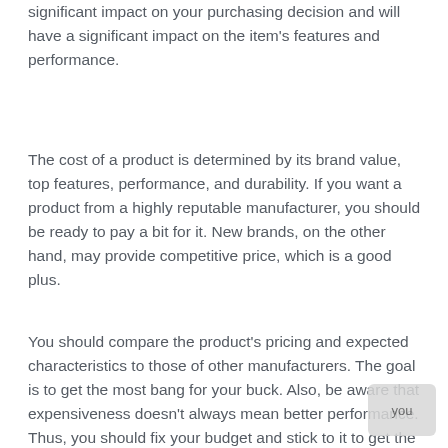significant impact on your purchasing decision and will have a significant impact on the item's features and performance.
The cost of a product is determined by its brand value, top features, performance, and durability. If you want a product from a highly reputable manufacturer, you should be ready to pay a bit for it. New brands, on the other hand, may provide competitive price, which is a good plus.
You should compare the product's pricing and expected characteristics to those of other manufacturers. The goal is to get the most bang for your buck. Also, be aware that expensiveness doesn't always mean better performance. Thus, you should fix your budget and stick to it to get the best